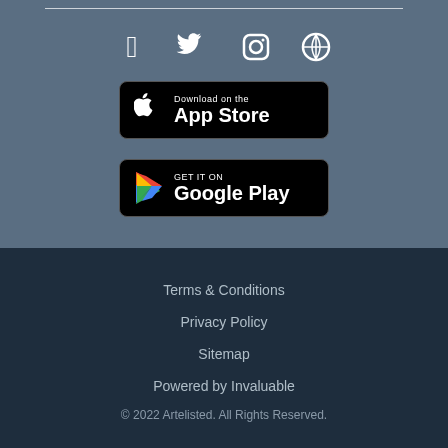[Figure (other): Social media icons row: Facebook, Twitter, Instagram, Pinterest]
[Figure (other): Download on the App Store button]
[Figure (other): Get it on Google Play button]
Terms & Conditions
Privacy Policy
Sitemap
Powered by Invaluable
© 2022 Artelisted. All Rights Reserved.